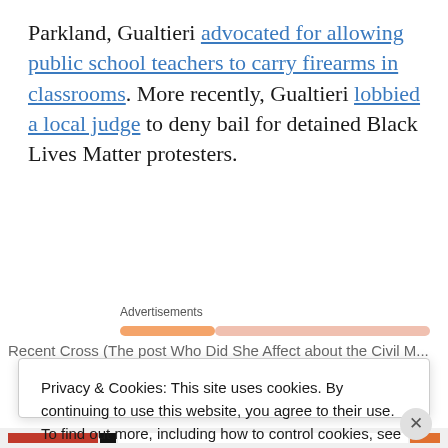Parkland, Gualtieri advocated for allowing public school teachers to carry firearms in classrooms. More recently, Gualtieri lobbied a local judge to deny bail for detained Black Lives Matter protesters.
Advertisements
Privacy & Cookies: This site uses cookies. By continuing to use this website, you agree to their use. To find out more, including how to control cookies, see here: Cookie Policy.
Close and accept